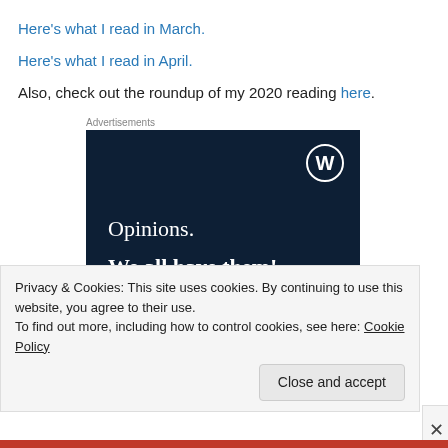Here's what I read in March.
Here's what I read in April.
Also, check out the roundup of my 2020 reading here.
Advertisements
[Figure (illustration): WordPress advertisement banner with dark navy background, WordPress logo (W in circle) top right, text 'Opinions. We all have them!' in white serif font.]
Privacy & Cookies: This site uses cookies. By continuing to use this website, you agree to their use.
To find out more, including how to control cookies, see here: Cookie Policy